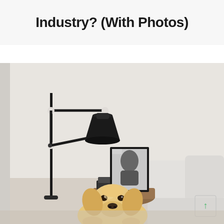Industry? (With Photos)
[Figure (photo): A bedroom scene showing a black floor lamp with adjustable arm, a wooden bedside table with books, cosmetics/grooming items, a framed black-and-white portrait photograph, white pillows on a bed, and a golden retriever puppy in the foreground. The room has white/light grey walls.]